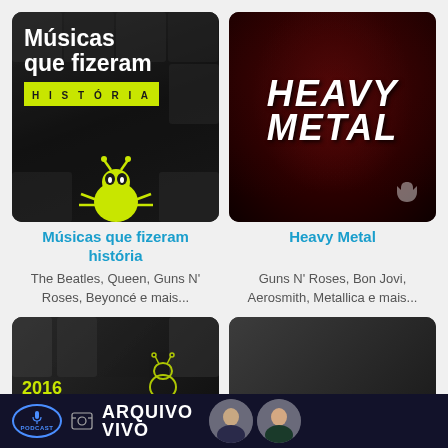[Figure (illustration): Playlist card: Músicas que fizeram história - dark background with collage of people, green highlighted text, and yellow-green mascot (bee/ant) at bottom]
[Figure (illustration): Playlist card: Heavy Metal - dark red background with white heavy metal styled logo text]
Músicas que fizeram história
The Beatles, Queen, Guns N' Roses, Beyoncé e mais...
Heavy Metal
Guns N' Roses, Bon Jovi, Aerosmith, Metallica e mais...
[Figure (screenshot): Partial bottom-left card showing dark background with year 2016 and green neon mascot outline]
[Figure (screenshot): Partial bottom-right card showing dark gray background]
[Figure (illustration): Footer banner: Podcast Arquivo Vivo with two men in suits on dark navy background]